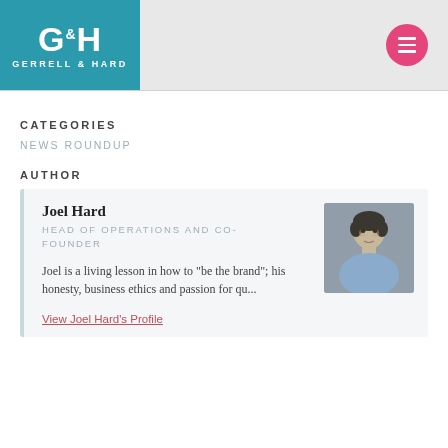[Figure (logo): Gerrell & Hard company logo on teal background with G&H lettering]
CATEGORIES
NEWS ROUNDUP
AUTHOR
Joel Hard
HEAD OF OPERATIONS AND CO-FOUNDER
Joel is a living lesson in how to "be the brand"; his honesty, business ethics and passion for qu...
[Figure (photo): Headshot of Joel Hard, a man in a light blue shirt against a grey background]
View Joel Hard's Profile